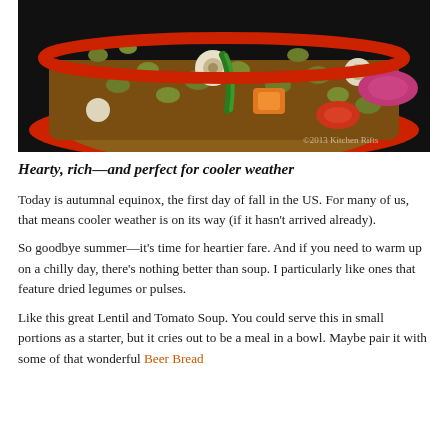[Figure (photo): Close-up overhead photo of a colorful lentil and vegetable soup in a red bowl, featuring green lentils, orange squash, green pepper, red onion, tomatoes, and pearl onions. Watermark reads '2013 Kitchen Rifts'.]
Hearty, rich—and perfect for cooler weather
Today is autumnal equinox, the first day of fall in the US. For many of us, that means cooler weather is on its way (if it hasn't arrived already).
So goodbye summer—it's time for heartier fare. And if you need to warm up on a chilly day, there's nothing better than soup. I particularly like ones that feature dried legumes or pulses.
Like this great Lentil and Tomato Soup. You could serve this in small portions as a starter, but it cries out to be a meal in a bowl. Maybe pair it with some of that wonderful Beer Bread